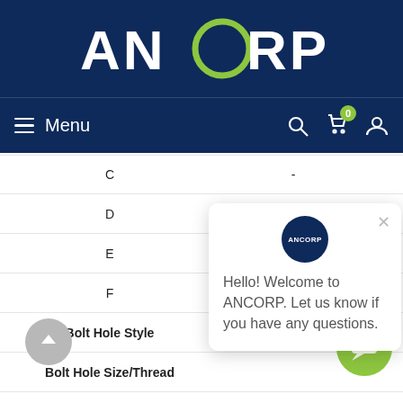[Figure (logo): ANCORP logo in white on dark navy blue background with green circular O]
≡ Menu  🔍  🛒(0)  👤
| Label | Value |
| --- | --- |
| C | - |
| D | 0.97 |
| E | - |
| F |  |
| Bolt Hole Style |  |
| Bolt Hole Size/Thread |  |
| Flange Style | Fixed |
| Figure | 1 |
| 3D CAD | Login |
Hello! Welcome to ANCORP. Let us know if you have any questions.